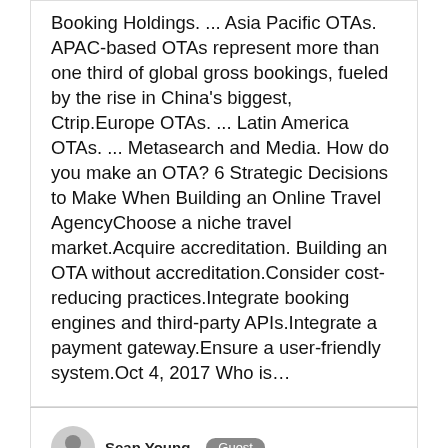Booking Holdings. ... Asia Pacific OTAs. APAC-based OTAs represent more than one third of global gross bookings, fueled by the rise in China's biggest, Ctrip.Europe OTAs. ... Latin America OTAs. ... Metasearch and Media. How do you make an OTA? 6 Strategic Decisions to Make When Building an Online Travel AgencyChoose a niche travel market.Acquire accreditation. Building an OTA without accreditation.Consider cost-reducing practices.Integrate booking engines and third-party APIs.Integrate a payment gateway.Ensure a user-friendly system.Oct 4, 2017 Who is…
Sean Young  Guest
Quick Answer: What Is The Most Dangerous Country In